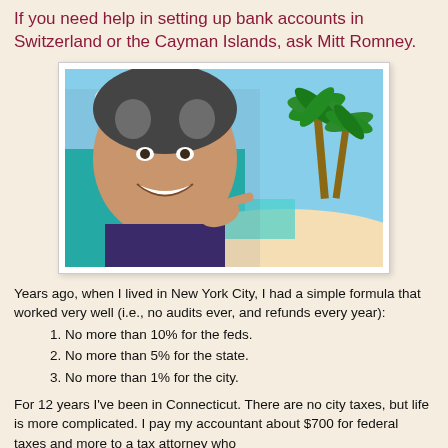If you need help in setting up bank accounts in Switzerland or the Cayman Islands, ask Mitt Romney.
[Figure (photo): Composite image of Mitt Romney smiling and pointing overlaid on a tropical beach scene with palm trees, white sand, and clear blue water.]
Years ago, when I lived in New York City, I had a simple formula that worked very well (i.e., no audits ever, and refunds every year):
1. No more than 10% for the feds.
2. No more than 5% for the state.
3. No more than 1% for the city.
For 12 years I've been in Connecticut. There are no city taxes, but life is more complicated. I pay my accountant about $700 for federal taxes and more to a tax attorney who